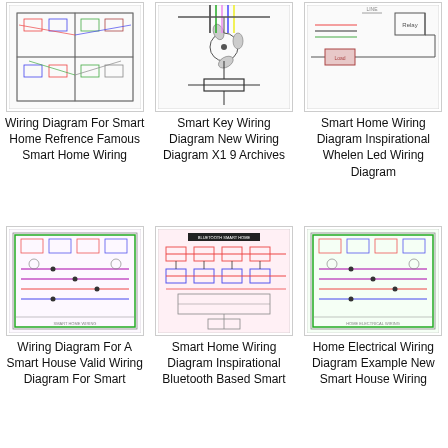[Figure (schematic): Wiring diagram for smart home showing floor plan with electrical connections]
Wiring Diagram For Smart Home Refrence Famous Smart Home Wiring
[Figure (schematic): Smart key wiring diagram showing ceiling fan with colored wires]
Smart Key Wiring Diagram New Wiring Diagram X1 9 Archives
[Figure (schematic): Smart home wiring diagram with relay and electrical connections]
Smart Home Wiring Diagram Inspirational Whelen Led Wiring Diagram
[Figure (schematic): Detailed smart home wiring diagram for a smart house with colorful circuit lines]
Wiring Diagram For A Smart House Valid Wiring Diagram For Smart
[Figure (schematic): Smart home wiring diagram inspirational bluetooth based smart home circuit]
Smart Home Wiring Diagram Inspirational Bluetooth Based Smart
[Figure (schematic): Home electrical wiring diagram example with colorful circuit lines]
Home Electrical Wiring Diagram Example New Smart House Wiring